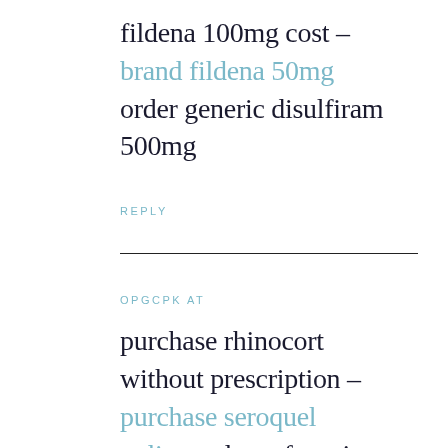fildena 100mg cost – brand fildena 50mg order generic disulfiram 500mg
REPLY
OPGCPK at
purchase rhinocort without prescription – purchase seroquel online order cefuroxime
REPLY
RDVRJX at